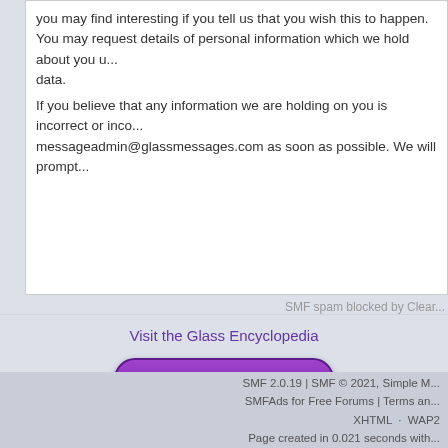you may find interesting if you tell us that you wish this to happen. You may request details of personal information which we hold about you u... data.
If you believe that any information we are holding on you is incorrect or inco... messageadmin@glassmessages.com as soon as possible. We will prompt...
SMF spam blocked by Clear...
Visit the Glass Encyclopedia
[Figure (illustration): Purple pill-shaped button with white italic bold text reading 'Glass Encyclopedia']
This website is provided by Angela Bowey, PO Box 11...
SMF 2.0.19 | SMF © 2021, Simple M... SMFAds for Free Forums | Terms an... XHTML · WAP2 Page created in 0.021 seconds with...